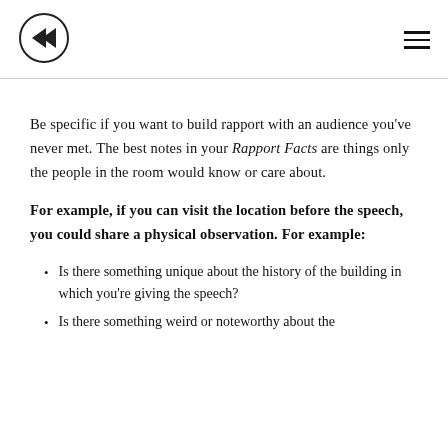[Figure (logo): Circular logo with a rewind/back arrow symbol inside]
Be specific if you want to build rapport with an audience you've never met. The best notes in your Rapport Facts are things only the people in the room would know or care about.
For example, if you can visit the location before the speech, you could share a physical observation. For example:
Is there something unique about the history of the building in which you're giving the speech?
Is there something weird or noteworthy about the